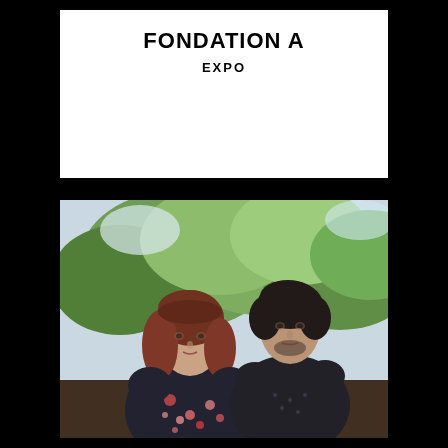FONDATION A
EXPO
[Figure (photo): Two people standing outdoors in front of trees. A woman with reddish-brown hair wearing a floral dark dress stands in the foreground. A man with dark curly hair wearing a dark patterned shirt stands slightly behind her to the right.]